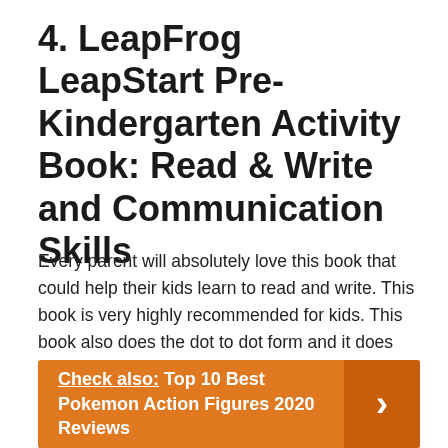4. LeapFrog LeapStart Pre-Kindergarten Activity Book: Read & Write and Communication Skills
Every parent will absolutely love this book that could help their kids learn to read and write. This book is very highly recommended for kids. This book also does the dot to dot form and it does help a lot. Moreover, it also has mazes and different cute characters. There is variety and it keeps your kid's interest which is always the hardest to find.
Check also: Top 10 Best Pokemon Action Figures 2020 Reviews